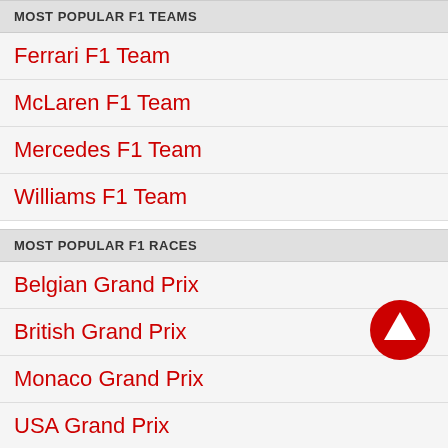MOST POPULAR F1 TEAMS
Ferrari F1 Team
McLaren F1 Team
Mercedes F1 Team
Williams F1 Team
MOST POPULAR F1 RACES
Belgian Grand Prix
British Grand Prix
Monaco Grand Prix
USA Grand Prix
[Figure (illustration): Red circle with upward arrow button]
MOST POPULAR F1 CONTENT
Spa-Francorchamps Layout & Records